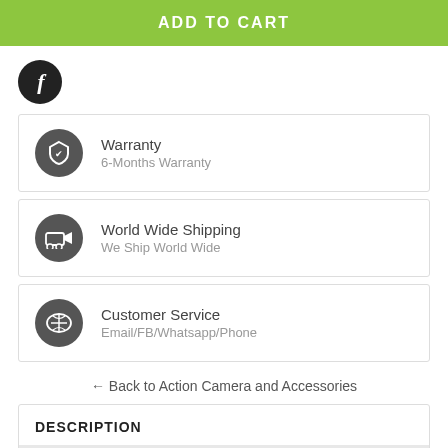ADD TO CART
[Figure (logo): Facebook icon — black circle with white italic f]
Warranty
6-Months Warranty
World Wide Shipping
We Ship World Wide
Customer Service
Email/FB/Whatsapp/Phone
← Back to Action Camera and Accessories
DESCRIPTION
WARRANTY